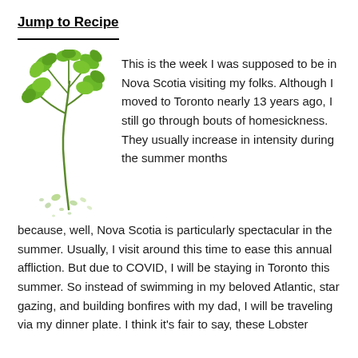Jump to Recipe
[Figure (illustration): A green herb (cilantro/parsley) sprig illustration with scattered green watercolor splashes below it]
This is the week I was supposed to be in Nova Scotia visiting my folks. Although I moved to Toronto nearly 13 years ago, I still go through bouts of homesickness. They usually increase in intensity during the summer months because, well, Nova Scotia is particularly spectacular in the summer. Usually, I visit around this time to ease this annual affliction. But due to COVID, I will be staying in Toronto this summer. So instead of swimming in my beloved Atlantic, star gazing, and building bonfires with my dad, I will be traveling via my dinner plate. I think it's fair to say, these Lobster